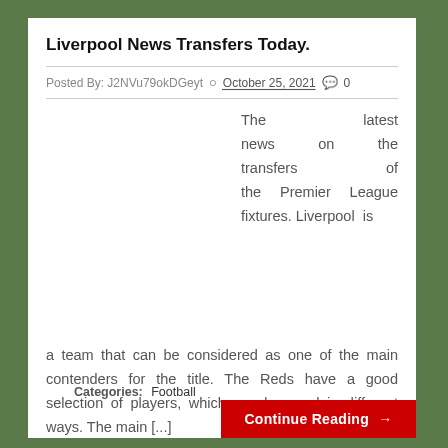Liverpool News Transfers Today.
Posted By: J2NVu79okDGeyt  October 25, 2021  0
[Figure (photo): Football player image placeholder on the left side of the article]
The latest news on the transfers of the Premier League fixtures. Liverpool is a team that can be considered as one of the main contenders for the title. The Reds have a good selection of players, which can be used in different ways. The main [...]
Categories: Football
Continue Reading →